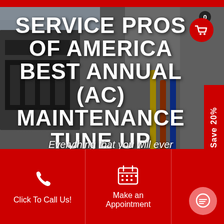SERVICE PROS OF AMERICA BEST ANNUAL (AC) MAINTENANCE TUNE UP PACKAGE FOR $299
Everything that you will ever
Save 20%
[Figure (illustration): Shopping cart icon with badge showing 0]
Click To Call Us!
Make an Appointment
[Figure (illustration): Phone icon]
[Figure (illustration): Calendar icon]
[Figure (illustration): Chat bubble icon]